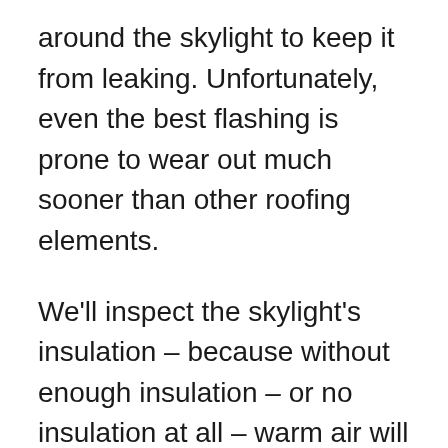around the skylight to keep it from leaking. Unfortunately, even the best flashing is prone to wear out much sooner than other roofing elements.
We'll inspect the skylight's insulation – because without enough insulation – or no insulation at all – warm air will flow up freely from inside the house and cause condensation. When insulation touches the glass, condensation usually results.